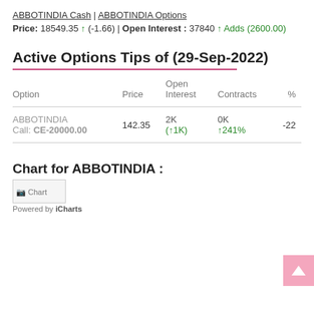ABBOTINDIA Cash | ABBOTINDIA Options
Price: 18549.35 ↑ (-1.66) | Open Interest : 37840 ↑ Adds (2600.00)
Active Options Tips of (29-Sep-2022)
| Option | Price | Open Interest | Contracts | % |
| --- | --- | --- | --- | --- |
| ABBOTINDIA Call: CE-20000.00 | 142.35 | 2K (↑1K) | 0K ↑241% | -22 |
Chart for ABBOTINDIA :
[Figure (other): Placeholder chart image for ABBOTINDIA]
Powered by iCharts